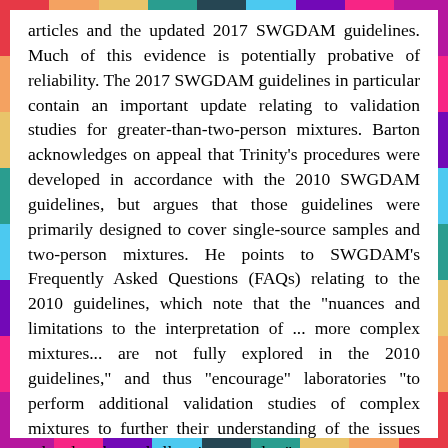articles and the updated 2017 SWGDAM guidelines. Much of this evidence is potentially probative of reliability. The 2017 SWGDAM guidelines in particular contain an important update relating to validation studies for greater-than-two-person mixtures. Barton acknowledges on appeal that Trinity's procedures were developed in accordance with the 2010 SWGDAM guidelines, but argues that those guidelines were primarily designed to cover single-source samples and two-person mixtures. He points to SWGDAM's Frequently Asked Questions (FAQs) relating to the 2010 guidelines, which note that the "nuances and limitations to the interpretation of ... more complex mixtures... are not fully explored in the 2010 guidelines," and thus "encourage" laboratories "to perform additional validation studies of complex mixtures to further their understanding of the issues related to these challenging samples."